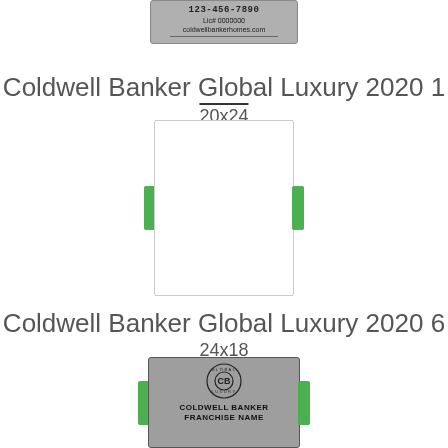[Figure (illustration): Partial top of a Coldwell Banker business card showing phone number placeholder, Lic# 0000000, coldwellbankerhomes.com, on a gray metallic background]
Coldwell Banker Global Luxury 2020 1
20x24
[Figure (illustration): Blank white business card template with green side tabs on left and right]
Coldwell Banker Global Luxury 2020 6
24x18
[Figure (illustration): Partial Coldwell Banker Global Luxury business card with gray background, CB Global Luxury circular logo, text COLDWELL BANKER FRANCHISE NAME]